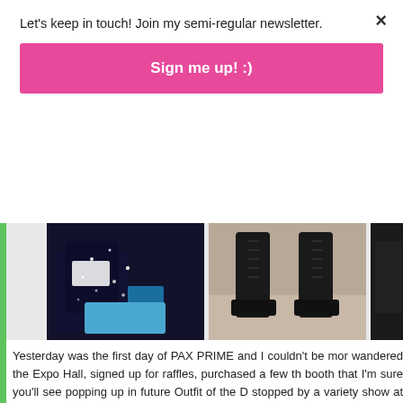Let's keep in touch! Join my semi-regular newsletter.
Sign me up! :)
[Figure (photo): Three-panel photo strip: left panel shows a dark sparkly outfit with a blue bag, center panel shows black lace-up boots on a floor, right panel is partially visible dark image.]
Yesterday was the first day of PAX PRIME and I couldn't be more wandered the Expo Hall, signed up for raffles, purchased a few th booth that I'm sure you'll see popping up in future Outfit of the D stopped by a variety show at the Triple Door and ended the improv show! It was an amazing first day – and although my feet d back down there and do it all again today.